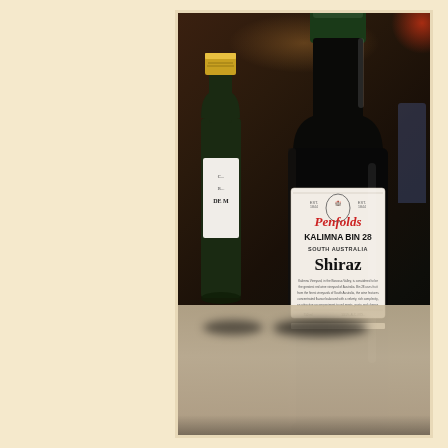[Figure (photo): Photograph of wine bottles on a table. The foreground shows a dark Penfolds Kalimna Bin 28 South Australia Shiraz bottle with a white label displaying the Penfolds script logo, 'KALIMNA BIN 28', 'SOUTH AUSTRALIA', and 'Shiraz' text. Behind it is a green champagne/sparkling wine bottle with gold foil and another bottle partially visible showing 'DE M...' text. The background is warm and dimly lit. The left side of the image shows a cream/beige background panel.]